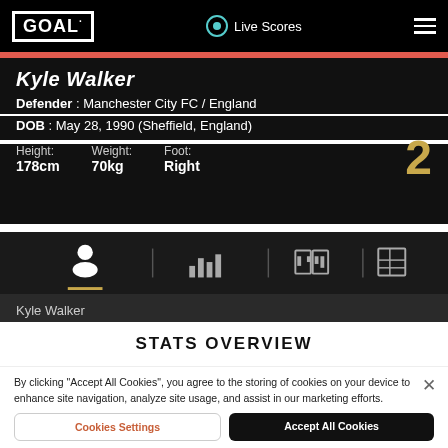GOAL | Live Scores
Kyle Walker
Defender : Manchester City FC / England
DOB : May 28, 1990 (Sheffield, England)
Height: 178cm  Weight: 70kg  Foot: Right  2
[Figure (other): Navigation tab bar with icons for profile, stats, comparison, and table views]
Kyle Walker
STATS OVERVIEW
By clicking "Accept All Cookies", you agree to the storing of cookies on your device to enhance site navigation, analyze site usage, and assist in our marketing efforts.
Cookies Settings
Accept All Cookies